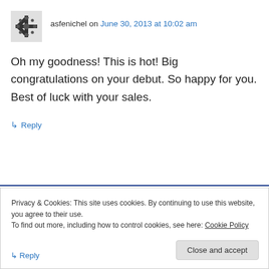asfenichel on June 30, 2013 at 10:02 am
Oh my goodness! This is hot! Big congratulations on your debut. So happy for you. Best of luck with your sales.
↳ Reply
[Figure (infographic): Pressable advertisement banner with text 'ThePlatform Where WordPress Works Best' and Pressable logo]
REPORT THIS AD
Privacy & Cookies: This site uses cookies. By continuing to use this website, you agree to their use.
To find out more, including how to control cookies, see here: Cookie Policy
Close and accept
↳ Reply